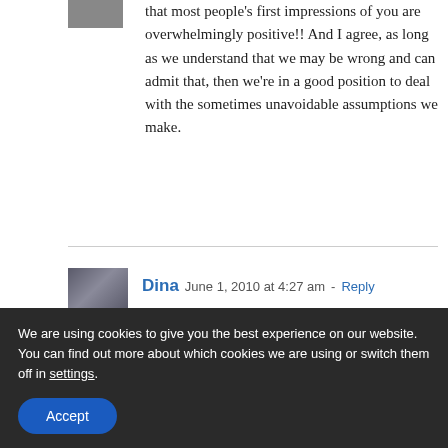that most people's first impressions of you are overwhelmingly positive!! And I agree, as long as we understand that we may be wrong and can admit that, then we're in a good position to deal with the sometimes unavoidable assumptions we make.
[Figure (photo): Small avatar image of commenter, partially visible at top left]
[Figure (photo): Avatar photo of Dina, showing a couple]
Dina June 1, 2010 at 4:27 am - Reply
We are using cookies to give you the best experience on our website.
You can find out more about which cookies we are using or switch them off in settings.
Accept